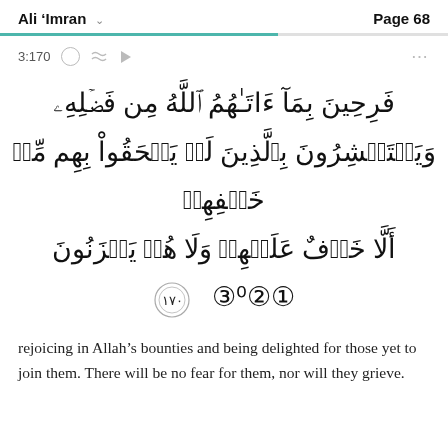Ali 'Imran  Page 68
3:170
[Figure (other): Arabic Quranic verse 3:170 in large Arabic script with verse number 170 in decorative circle]
rejoicing in Allah's bounties and being delighted for those yet to join them. There will be no fear for them, nor will they grieve.